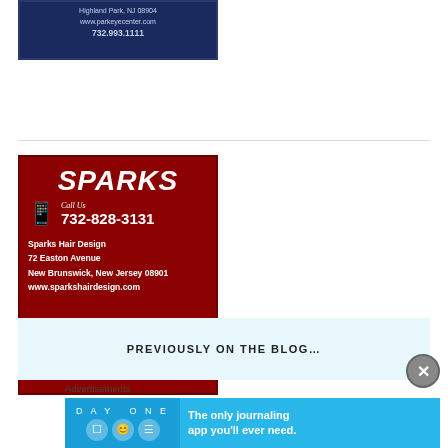[Figure (other): Park Eye Center advertisement with dark blue background showing address: Highland Park, NJ 08904, www.parkeyecenter.com, 732.993.1111]
[Figure (other): Sparks Hair Design advertisement with dark red background. Features logo 'SPARKS', phone icon, 'Call Us 732-828-3131', address: Sparks Hair Design, 72 Easton Avenue, New Brunswick, New Jersey 08901, www.sparkshairdesign.com]
PREVIOUSLY ON THE BLOG…
Advertisements
[Figure (other): Day One journaling app advertisement with blue background. Left side shows 'DAY ONE' brand with icons. Right side says 'The only journaling app you'll ever need.']